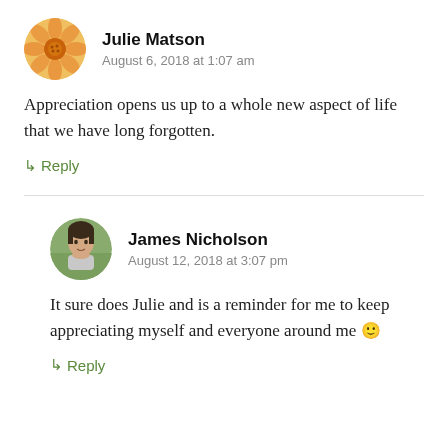Julie Matson — August 6, 2018 at 1:07 am
Appreciation opens us up to a whole new aspect of life that we have long forgotten.
↳ Reply
James Nicholson — August 12, 2018 at 3:07 pm
It sure does Julie and is a reminder for me to keep appreciating myself and everyone around me 🙂
↳ Reply